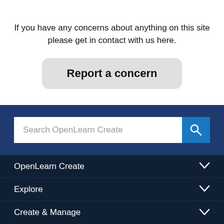If you have any concerns about anything on this site please get in contact with us here.
[Figure (screenshot): A rounded button labeled 'Report a concern' in bold text on a light grey background]
[Figure (screenshot): Search bar with placeholder text 'Search OpenLearn Create' and a blue search button with magnifying glass icon]
OpenLearn Create
Explore
Create & Manage